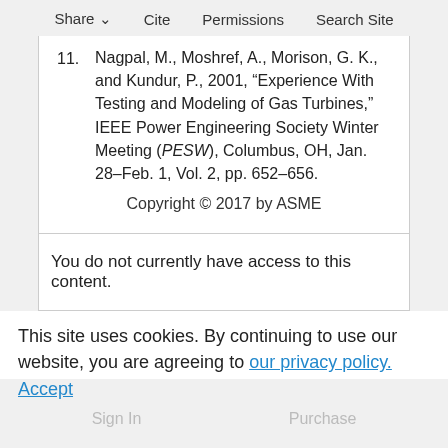Share  Cite  Permissions  Search Site
11. Nagpal, M., Moshref, A., Morison, G. K., and Kundur, P., 2001, “Experience With Testing and Modeling of Gas Turbines,” IEEE Power Engineering Society Winter Meeting (PESW), Columbus, OH, Jan. 28–Feb. 1, Vol. 2, pp. 652–656.
Copyright © 2017 by ASME
You do not currently have access to this content.
This site uses cookies. By continuing to use our website, you are agreeing to our privacy policy.
Accept